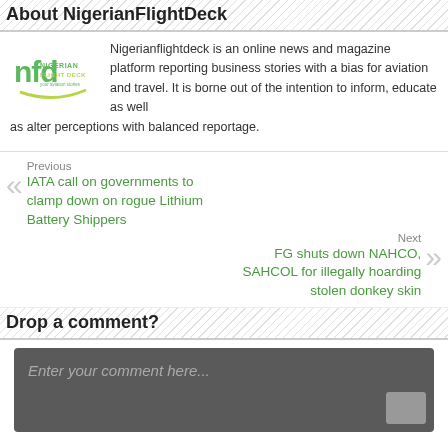About NigerianFlightDeck
[Figure (logo): NigerianFlightDeck logo — green stylized 'nfd' letters with company name]
Nigerianflightdeck is an online news and magazine platform reporting business stories with a bias for aviation and travel. It is borne out of the intention to inform, educate as well as alter perceptions with balanced reportage.
Previous
IATA call on governments to clamp down on rogue Lithium Battery Shippers
Next
FG shuts down NAHCO, SAHCOL for illegally hoarding stolen donkey skin
Drop a comment?
Enter your comment here...